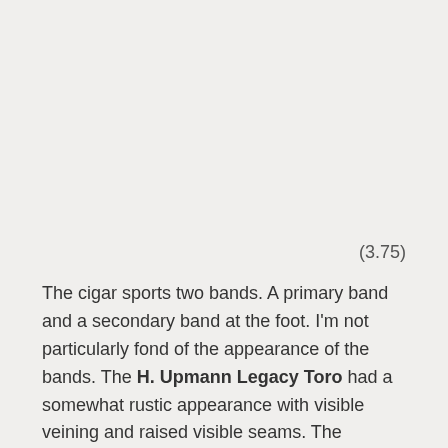(3.75)
The cigar sports two bands. A primary band and a secondary band at the foot. I'm not particularly fond of the appearance of the bands. The H. Upmann Legacy Toro had a somewhat rustic appearance with visible veining and raised visible seams. The wrapper itself had a nice oily sheen to it. There were some minor flaws at the double cap that were immediately spotted.